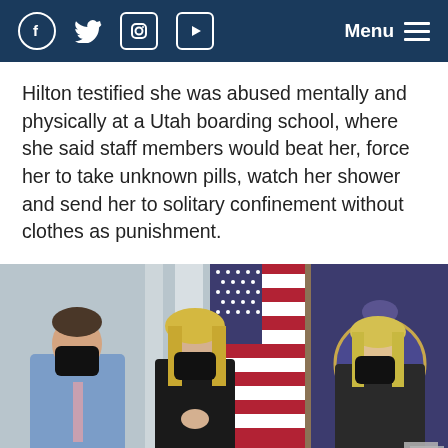Facebook Twitter Instagram YouTube Menu
Hilton testified she was abused mentally and physically at a Utah boarding school, where she said staff members would beat her, force her to take unknown pills, watch her shower and send her to solitary confinement without clothes as punishment.
[Figure (photo): Three people wearing black face masks standing in front of American and Utah state flags. A man in a blue blazer and pink tie stands on the left, a blonde woman in black stands in the center with hands clasped, and another blonde woman in a black jacket stands on the right.]